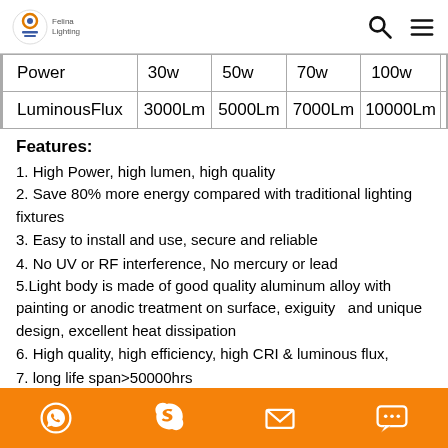Logo and navigation icons
|  | Col1 | Col2 | Col3 | Col4 | ... |
| --- | --- | --- | --- | --- | --- |
| Power | 30w | 50w | 70w | 100w | ... |
| LuminousFlux | 3000Lm | 5000Lm | 7000Lm | 10000Lm | ... |
Features:
1. High Power, high lumen, high quality
2. Save 80% more energy compared with traditional lighting fixtures
3. Easy to install and use, secure and reliable
4. No UV or RF interference, No mercury or lead
5.Light body is made of good quality aluminum alloy with painting or anodic treatment on surface, exiguity  and unique design, excellent heat dissipation
6. High quality, high efficiency, high CRI & luminous flux,
7. long life span>50000hrs
8. High brightness, low consumption, green for environment
9. Customised different types of beam angles,we have 60°,
WhatsApp, Skype, Email, Chat icons